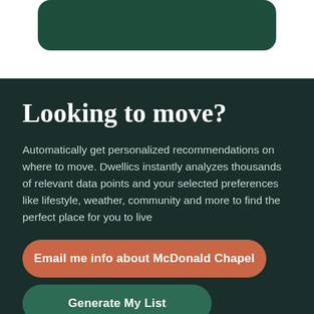[Figure (other): Dark green rounded card/button element at the top of the page on a white background]
Looking to move?
Automatically get personalized recommendations on where to move. Dwellics instantly analyzes thousands of relevant data points and your selected preferences like lifestyle, weather, community and more to find the perfect place for you to live
Email me info about McDonald Chapel
Generate My List